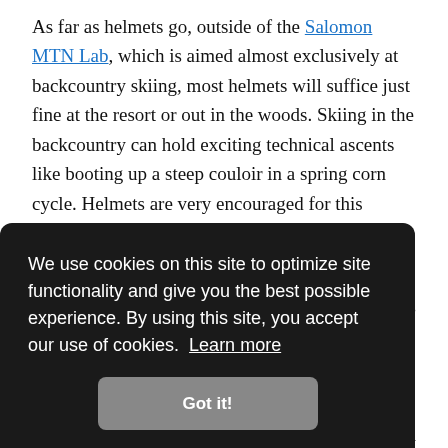As far as helmets go, outside of the Salomon MTN Lab, which is aimed almost exclusively at backcountry skiing, most helmets will suffice just fine at the resort or out in the woods. Skiing in the backcountry can hold exciting technical ascents like booting up a steep couloir in a spring corn cycle. Helmets are very encouraged for this terrain to help manage the rockfall hazard. These activities can often be very sweaty endeavors, and ventilation becomes paramount.
[Figure (screenshot): Cookie consent banner overlay with dark background reading: 'We use cookies on this site to optimize site functionality and give you the best possible experience. By using this site, you accept our use of cookies. Learn more' with a 'Got it!' button.]